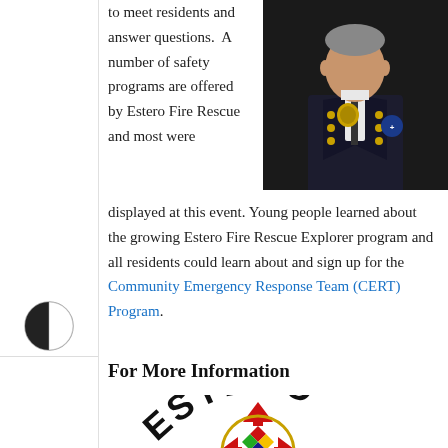[Figure (photo): Headshot of a fire department official in dark dress uniform with gold buttons, badge, and an EMS emblem patch on the sleeve, against a dark background.]
to meet residents and answer questions.  A number of safety programs are offered by Estero Fire Rescue and most were displayed at this event. Young people learned about the growing Estero Fire Rescue Explorer program and all residents could learn about and sign up for the Community Emergency Response Team (CERT) Program.
[Figure (illustration): Accessibility contrast toggle icon (half black/half white circle)]
[Figure (illustration): Accessibility text size toggle icon (letter T with increase arrows)]
For More Information
[Figure (logo): Estero Fire Rescue logo showing the word ESTERO arched over a fire department Maltese cross shield with colored diamond shapes in the center.]